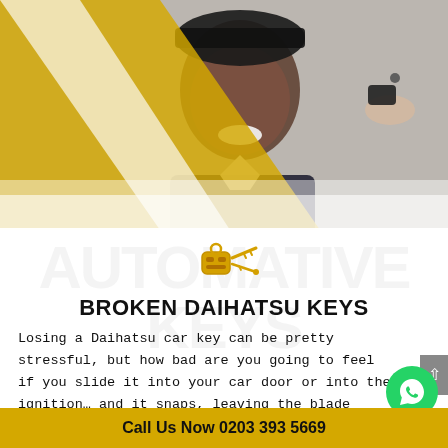[Figure (photo): A smiling man in a suit sitting in a car receiving car keys, with a yellow diagonal graphic element in the top-left corner]
[Figure (illustration): Car key icon in golden/orange color]
BROKEN DAIHATSU KEYS
Losing a Daihatsu car key can be pretty stressful, but how bad are you going to feel if you slide it into your car door or into the ignition… and it snaps, leaving the blade
Call Us Now 0203 393 5669